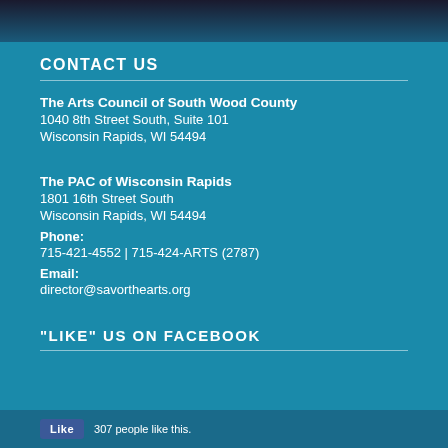[Figure (photo): Dark night sky background image at top of page]
CONTACT US
The Arts Council of South Wood County
1040 8th Street South, Suite 101
Wisconsin Rapids, WI 54494
The PAC of Wisconsin Rapids
1801 16th Street South
Wisconsin Rapids, WI 54494
Phone:
715-421-4552 | 715-424-ARTS (2787)
Email:
director@savorthearts.org
"LIKE" US ON FACEBOOK